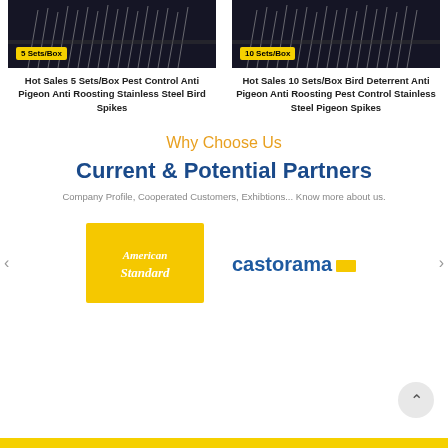[Figure (photo): Product image for 5 Sets/Box bird spikes on dark background with yellow badge]
Hot Sales 5 Sets/Box Pest Control Anti Pigeon Anti Roosting Stainless Steel Bird Spikes
[Figure (photo): Product image for 10 Sets/Box bird spikes on dark background with yellow badge]
Hot Sales 10 Sets/Box Bird Deterrent Anti Pigeon Anti Roosting Pest Control Stainless Steel Pigeon Spikes
Why Choose Us
Current & Potential Partners
Company Profile, Cooperated Customers, Exhibtions... Know more about us.
[Figure (logo): American Standard logo on yellow background]
[Figure (logo): Castorama logo in blue and yellow]